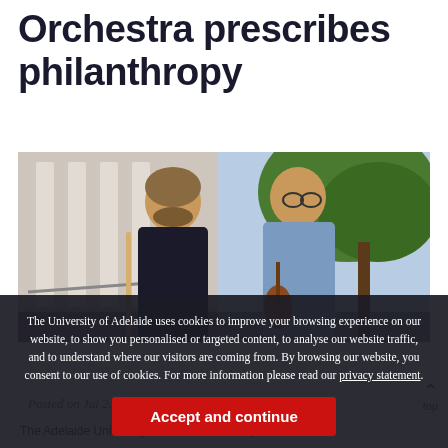Orchestra prescribes philanthropy
[Figure (photo): Two young men standing outdoors in front of a building with classical columns and a tree. The man on the left holds a flute and wears a dark polo shirt. The man on the right holds a violin and wears a blue checked shirt.]
The University of Adelaide uses cookies to improve your browsing experience on our website, to show you personalised or targeted content, to analyse our website traffic, and to understand where our visitors are coming from. By browsing our website, you consent to our use of cookies. For more information please read our privacy statement.
Posted on Jul 2... ...tia
The Adelaide University Medical Orchestra (AUMO...